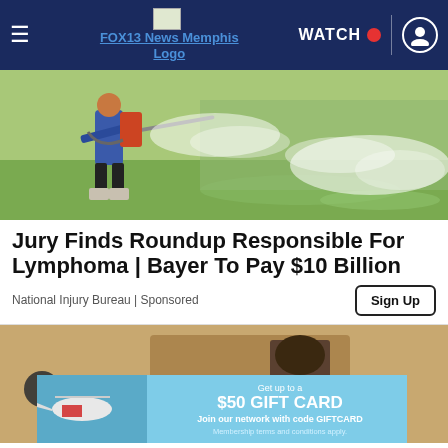FOX13 News Memphis Logo | WATCH
[Figure (photo): Person wearing rubber boots spraying pesticide/herbicide across a flooded/wet agricultural field with green vegetation in the background]
Jury Finds Roundup Responsible For Lymphoma | Bayer To Pay $10 Billion
National Injury Bureau | Sponsored
[Figure (photo): Exterior wall of a building with a mounted light fixture; partial view of a helicopter in an advertisement banner at the bottom reading: Get up to a $50 GIFT CARD. Join our network with code GIFTCARD. Membership terms and conditions apply.]